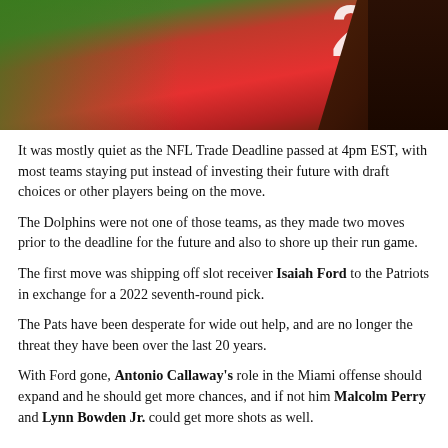[Figure (photo): Football player in red jersey raising arm, partial view showing jersey number and dark arm/hand against red uniform and green background]
It was mostly quiet as the NFL Trade Deadline passed at 4pm EST, with most teams staying put instead of investing their future with draft choices or other players being on the move.
The Dolphins were not one of those teams, as they made two moves prior to the deadline for the future and also to shore up their run game.
The first move was shipping off slot receiver Isaiah Ford to the Patriots in exchange for a 2022 seventh-round pick.
The Pats have been desperate for wide out help, and are no longer the threat they have been over the last 20 years.
With Ford gone, Antonio Callaway's role in the Miami offense should expand and he should get more chances, and if not him Malcolm Perry and Lynn Bowden Jr. could get more shots as well.